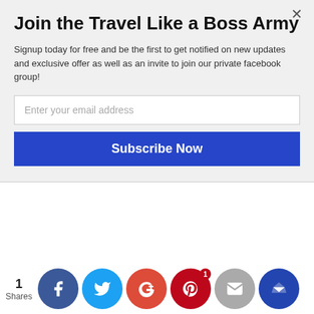Join the Travel Like a Boss Army
Signup today for free and be the first to get notified on new updates and exclusive offer as well as an invite to join our private facebook group!
May 2020
April 2020
March 2020
February 2020
January 2020
December 2019
November 2019
October 2019
September 2019
August 2019
July 2019
June 2019